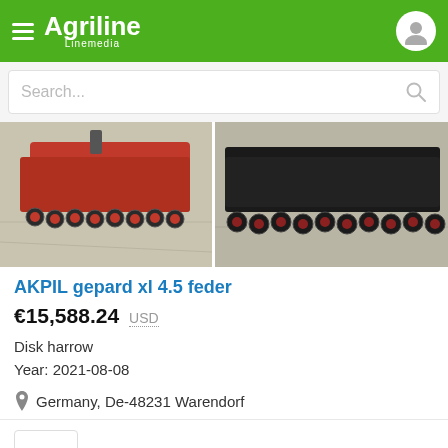Agriline Linemedia
Search...
[Figure (photo): Two photos of a red AKPIL disk harrow machine on concrete ground]
AKPIL gepard xl 4.5 feder
€15,588.24  USD
Disk harrow
Year: 2021-08-08
Germany, De-48231 Warendorf
E-FARM.COM
6 years at Agriline
[Figure (photo): Bottom strip showing partial thumbnails of agricultural machinery listings]